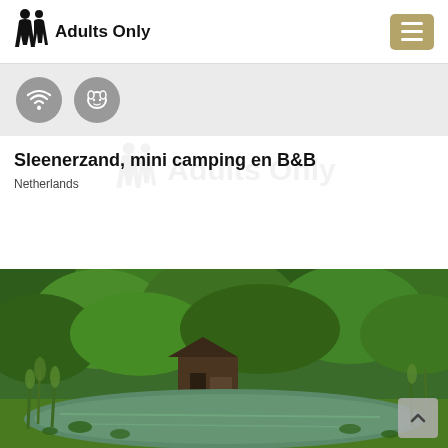Adults Only
[Figure (infographic): Two grey circular icon badges: a WiFi signal icon and a dog/pet icon]
Sleenerzand, mini camping en B&B
Netherlands
[Figure (photo): Outdoor nature photo showing a wooden cabin/hut surrounded by lush green trees and vegetation, with a pond in the foreground containing water plants and lily pads. A small scroll-up button is visible in the bottom right corner.]